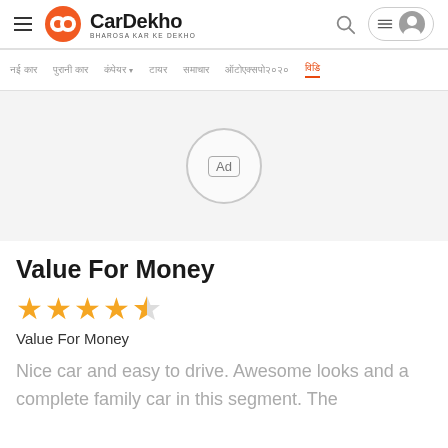CarDekho - BHAROSA KAR KE DEKHO
[Figure (screenshot): CarDekho website navigation bar with Hindi menu items and a last item highlighted in orange]
[Figure (other): Advertisement placeholder circle with 'Ad' label on gray background]
Value For Money
[Figure (other): Star rating: 4 out of 5 stars (4 filled, 1 half-filled) in orange]
Value For Money
Nice car and easy to drive. Awesome looks and a complete family car in this segment. The